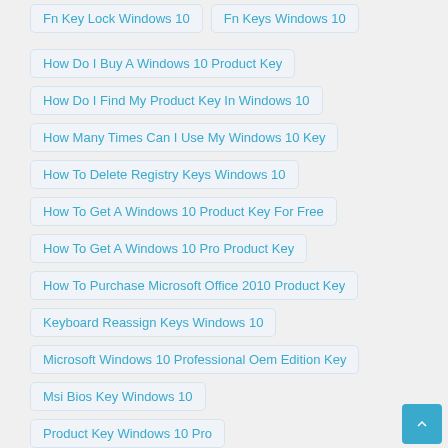Fn Key Lock Windows 10
Fn Keys Windows 10
How Do I Buy A Windows 10 Product Key
How Do I Find My Product Key In Windows 10
How Many Times Can I Use My Windows 10 Key
How To Delete Registry Keys Windows 10
How To Get A Windows 10 Product Key For Free
How To Get A Windows 10 Pro Product Key
How To Purchase Microsoft Office 2010 Product Key
Keyboard Reassign Keys Windows 10
Microsoft Windows 10 Professional Oem Edition Key
Msi Bios Key Windows 10
Product Key Windows 10 Pro